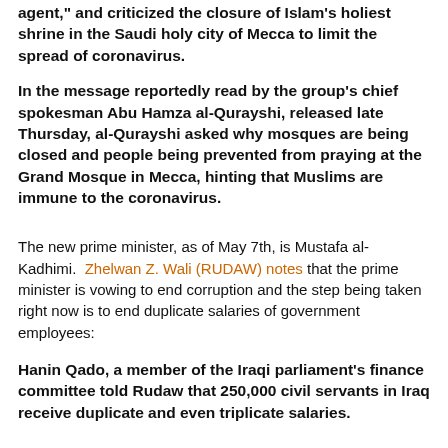agent," and criticized the closure of Islam's holiest shrine in the Saudi holy city of Mecca to limit the spread of coronavirus.
In the message reportedly read by the group's chief spokesman Abu Hamza al-Qurayshi, released late Thursday, al-Qurayshi asked why mosques are being closed and people being prevented from praying at the Grand Mosque in Mecca, hinting that Muslims are immune to the coronavirus.
The new prime minister, as of May 7th, is Mustafa al-Kadhimi. Zhelwan Z. Wali (RUDAW) notes that the prime minister is vowing to end corruption and the step being taken right now is to end duplicate salaries of government employees:
Hanin Qado, a member of the Iraqi parliament's finance committee told Rudaw that 250,000 civil servants in Iraq receive duplicate and even triplicate salaries.